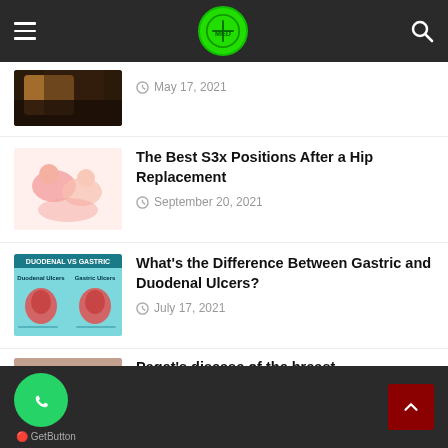Medical website navigation bar
[Figure (photo): Partial thumbnail of an article (cut off at top), showing a person]
May 17, 2021
[Figure (illustration): Illustration of couple in pink/peach tones for hip replacement article]
The Best S3x Positions After a Hip Replacement
September 20, 2021
[Figure (infographic): Duodenal vs Gastric ulcer comparison infographic with stomach illustrations]
What's the Difference Between Gastric and Duodenal Ulcers?
July 17, 2021
[Figure (photo): Close-up photo of skin showing Paget's disease of the breast]
Paget's disease of the breast
May 11, 2021
GetButton footer with WhatsApp button and back to top button